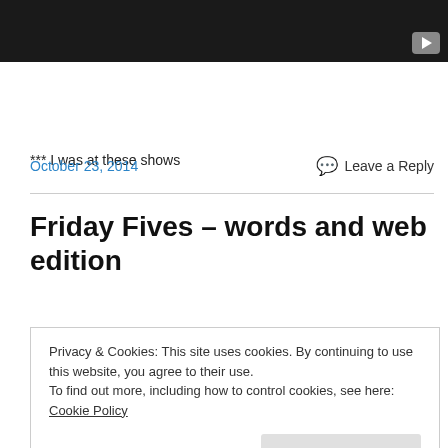[Figure (screenshot): Dark video player bar with a play button icon in the top right corner]
*** I was at these shows
October 23, 2014
Leave a Reply
Friday Fives – words and web edition
Privacy & Cookies: This site uses cookies. By continuing to use this website, you agree to their use.
To find out more, including how to control cookies, see here: Cookie Policy